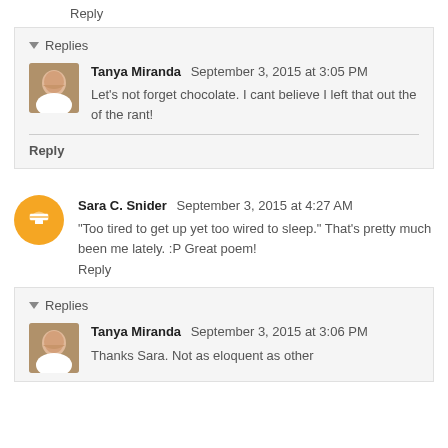Reply
▼ Replies
Tanya Miranda  September 3, 2015 at 3:05 PM
Let's not forget chocolate. I cant believe I left that out the of the rant!
Reply
Sara C. Snider  September 3, 2015 at 4:27 AM
"Too tired to get up yet too wired to sleep." That's pretty much been me lately. :P Great poem!
Reply
▼ Replies
Tanya Miranda  September 3, 2015 at 3:06 PM
Thanks Sara. Not as eloquent as other